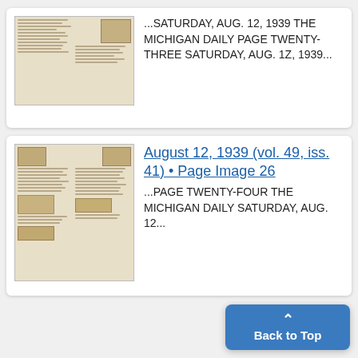[Figure (photo): Thumbnail image of a newspaper page, aged/yellowed appearance with multiple columns of text]
...SATURDAY, AUG. 12, 1939 THE MICHIGAN DAILY PAGE TWENTY-THREE SATURDAY, AUG. 1Z, 1939...
[Figure (photo): Thumbnail image of a newspaper page (August 12, 1939, vol. 49, iss. 41, Page Image 26), yellowed with columns, small photos, and boxed advertisements]
August 12, 1939 (vol. 49, iss. 41) • Page Image 26
...PAGE TWENTY-FOUR THE MICHIGAN DAILY SATURDAY, AUG. 12...